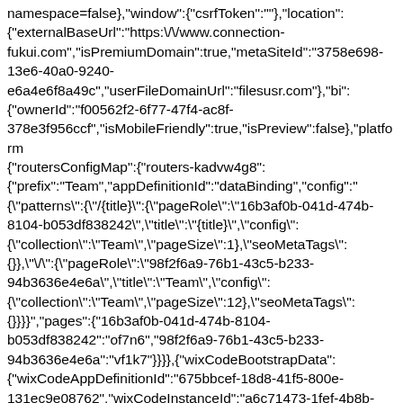namespace=false},{"window":{"csrfToken":""},"location":{"externalBaseUrl":"https:\/\/www.connection-fukui.com","isPremiumDomain":true,"metaSiteId":"3758e698-13e6-40a0-9240-e6a4e6f8a49c","userFileDomainUrl":"filesusr.com"},{"bi":{"ownerId":"f00562f2-6f77-47f4-ac8f-378e3f956ccf","isMobileFriendly":true,"isPreview":false},{"platform":{"routersConfigMap":{"routers-kadvw4g8":{"prefix":"Team","appDefinitionId":"dataBinding","config":"{\"patterns\":{\"\/{title}\":{\"pageRole\":\"16b3af0b-041d-474b-8104-b053df838242\",\"title\":\"{title}\",\"config\":{\"collection\":\"Team\",\"pageSize\":1},\"seoMetaTags\":{}},\"\/\":{\"pageRole\":\"98f2f6a9-76b1-43c5-b233-94b3636e4e6a\",\"title\":\"Team\",\"config\":{\"collection\":\"Team\",\"pageSize\":12},\"seoMetaTags\":{}}}}"},{"pages":{"16b3af0b-041d-474b-8104-b053df838242":"of7n6","98f2f6a9-76b1-43c5-b233-94b3636e4e6a":"vf1k7"}}}}},{"wixCodeBootstrapData":{"wixCodeAppDefinitionId":"675bbcef-18d8-41f5-800e-131ec9e08762","wixCodeInstanceId":"a6c71473-1fef-4b8b-9c0a-72381ebd0f58","wixCloudBaseDomain":"wix-code.com","dbsmViewerApp":"https:\/\/static.parastorage.com\/services\/viewer-app\/1.3932.0","wixCodePlatformBaseUrl":"https:\/\/static.parastorage.com\/services\/code-platform\/1.964.0","wixCodeModel":{"appData":